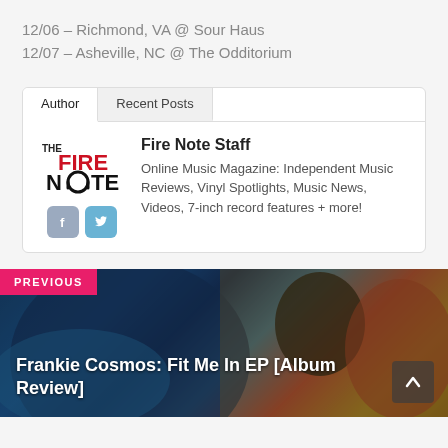12/06 – Richmond, VA @ Sour Haus
12/07 – Asheville, NC @ The Odditorium
[Figure (other): Author box with tabs (Author / Recent Posts), The Fire Note logo, social media icons (Facebook, Twitter), and author bio text for Fire Note Staff]
Fire Note Staff
Online Music Magazine: Independent Music Reviews, Vinyl Spotlights, Music News, Videos, 7-inch record features + more!
[Figure (photo): Previous article thumbnail: painted artwork background showing a figure with dark hair, red/orange shapes, blue tones, gold background. Overlay shows pink PREVIOUS badge, white bold title text: Frankie Cosmos: Fit Me In EP [Album Review], and a dark up-arrow button in bottom right corner.]